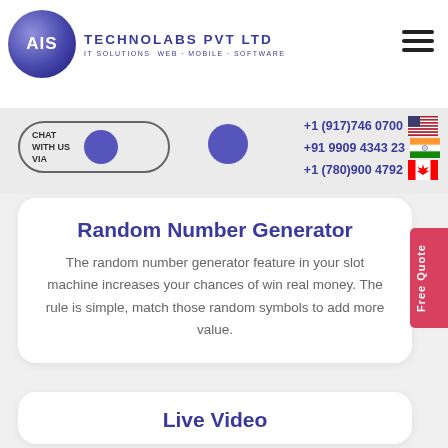[Figure (logo): AIS Technolabs Pvt Ltd logo with circular purple globe icon and company name]
CHAT WITH US VIA
+1 (917)746 0700
+91 9909 4343 23
+1 (780)900 4792
Random Number Generator
The random number generator feature in your slot machine increases your chances of win real money. The rule is simple, match those random symbols to add more value.
Live Video